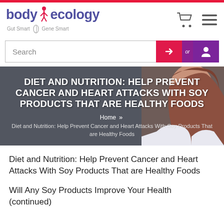[Figure (logo): Body Ecology logo with tagline 'Gut Smart Gene Smart']
[Figure (screenshot): Search bar with login and user account buttons]
[Figure (photo): Hero banner with woman in background, dark slate background]
DIET AND NUTRITION: HELP PREVENT CANCER AND HEART ATTACKS WITH SOY PRODUCTS THAT ARE HEALTHY FOODS
Home » Diet and Nutrition: Help Prevent Cancer and Heart Attacks With Soy Products That are Healthy Foods
Diet and Nutrition: Help Prevent Cancer and Heart Attacks With Soy Products That are Healthy Foods
Will Any Soy Products Improve Your Health (continued)